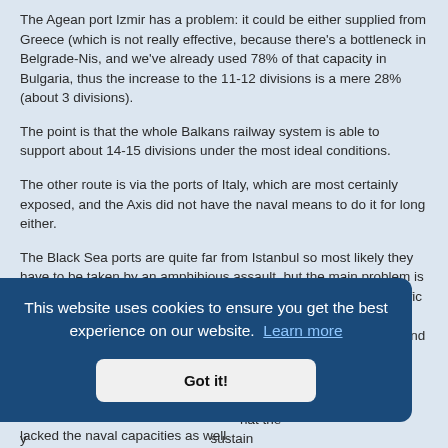The Agean port Izmir has a problem: it could be either supplied from Greece (which is not really effective, because there's a bottleneck in Belgrade-Nis, and we've already used 78% of that capacity in Bulgaria, thus the increase to the 11-12 divisions is a mere 28% (about 3 divisions).
The point is that the whole Balkans railway system is able to support about 14-15 divisions under the most ideal conditions.
The other route is via the ports of Italy, which are most certainly exposed, and the Axis did not have the naval means to do it for long either.
The Black Sea ports are quite far from Istanbul so most likely they have to be taken by an amphibious assault, but the main problem is the lack of the seagoing merchant vessels and the lack of the traffic from the Agean. So the whole straitscoast have to be cleared up first to utilize those ports for Mediterran Sea vessels. Until then (and mostly afterwards), every loss is
nd the hat the sustain pos they lacked the naval capacities as well.
This website uses cookies to ensure you get the best experience on our website.  Learn more
Got it!